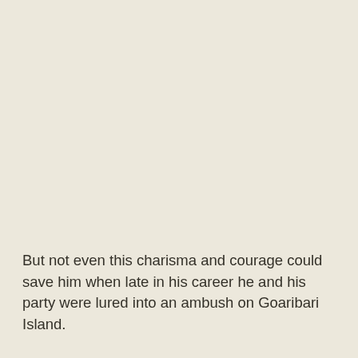But not even this charisma and courage could save him when late in his career he and his party were lured into an ambush on Goaribari Island.